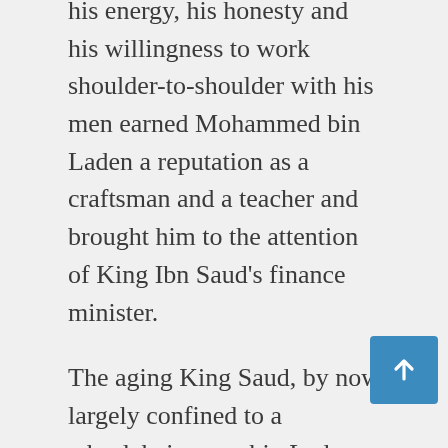his energy, his honesty and his willingness to work shoulder-to-shoulder with his men earned Mohammed bin Laden a reputation as a craftsman and a teacher and brought him to the attention of King Ibn Saud's finance minister.
The aging King Saud, by now largely confined to a wheelchair, gave bin Laden the chance to renovate his palace in Jeddah so that his car could be driven by ramp directly to his second-floor bedroom. Impressed with bin Laden's work (and bin Laden's gesture of personally driving the king's car up the newly installed ramp to make sure it would hold weight), the king awarded him with a number of increasingly important projects and even appointed him as an honorary minister of public works. Bin